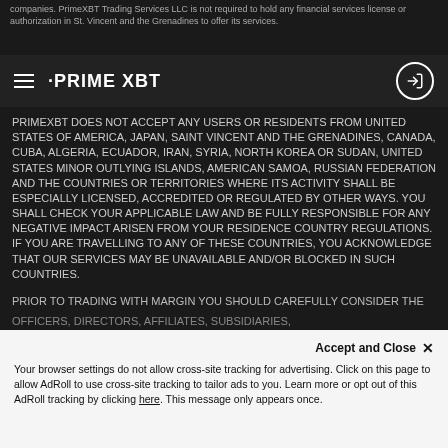companies. PrimeXBT Trading Services LLC is not required to hold any financial services license or authorization in St. Vincent and the Grenadines to offer its services.
PRIME XBT
PRIMEXBT DOES NOT ACCEPT ANY USERS OR RESIDENTS FROM UNITED STATES OF AMERICA, JAPAN, SAINT VINCENT AND THE GRENADINES, CANADA, CUBA, ALGERIA, ECUADOR, IRAN, SYRIA, NORTH KOREA OR SUDAN, UNITED STATES MINOR OUTLYING ISLANDS, AMERICAN SAMOA, RUSSIAN FEDERATION AND THE COUNTRIES OR TERRITORIES WHERE ITS ACTIVITY SHALL BE ESPECIALLY LICENSED, ACCREDITED OR REGULATED BY OTHER WAYS. YOU SHALL CHECK YOUR APPLICABLE LAW AND BE FULLY RESPONSIBLE FOR ANY NEGATIVE IMPACT ARISEN FROM YOUR RESIDENCE COUNTRY REGULATIONS. IF YOU ARE TRAVELLING TO ANY OF THESE COUNTRIES, YOU ACKNOWLEDGE THAT OUR SERVICES MAY BE UNAVAILABLE AND/OR BLOCKED IN SUCH COUNTRIES.
PRIOR TO TRADING WITH MARGIN YOU SHOULD CAREFULLY CONSIDER THE TERMS AND CONDITIONS OF THIS WEB-SITE, TO THE EXTENT NECESSARY, CONSULT AN APPROPRIATE LAWYER, ACCOUNTANT, OR TAX PROFESSIONAL. IF ANY OF THE FOLLOWING TERMS ARE UNACCEPTABLE TO YOU, YOU SHOULD NOT USE THE WEB-SITE, AND TO THE EXTENT PERMITTED BY LAW, YOU AGREE NOT TO HOLD ANY OF THE COMPANY AND ITS RESPECTIVE PAST, PRESENT AND FUTURE EMPLOYEES,
Accept and Close ✕ Your browser settings do not allow cross-site tracking for advertising. Click on this page to allow AdRoll to use cross-site tracking to tailor ads to you. Learn more or opt out of this AdRoll tracking by clicking here. This message only appears once.